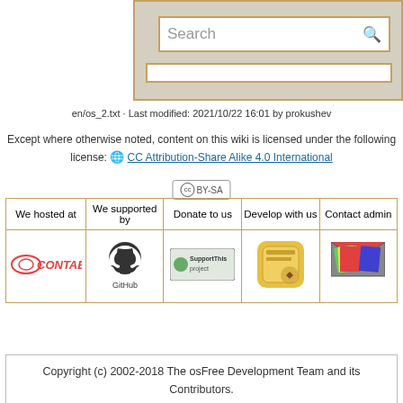[Figure (screenshot): Search bar UI with orange border on beige background]
en/os_2.txt · Last modified: 2021/10/22 16:01 by prokushev
Except where otherwise noted, content on this wiki is licensed under the following license: CC Attribution-Share Alike 4.0 International
[Figure (logo): CC BY-SA license badge]
| We hosted at | We supported by | Donate to us | Develop with us | Contact admin |
| --- | --- | --- | --- | --- |
| Contabo logo | GitHub logo | SupportThis project logo | App icon | Mail icon |
Copyright (c) 2002-2018 The osFree Development Team and its Contributors.